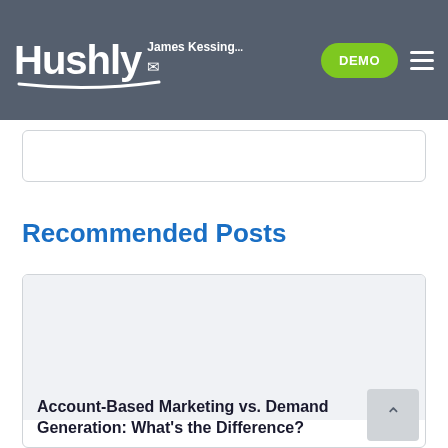Hushly | James Kessinger | DEMO
Recommended Posts
Account-Based Marketing vs. Demand Generation: What's the Difference?